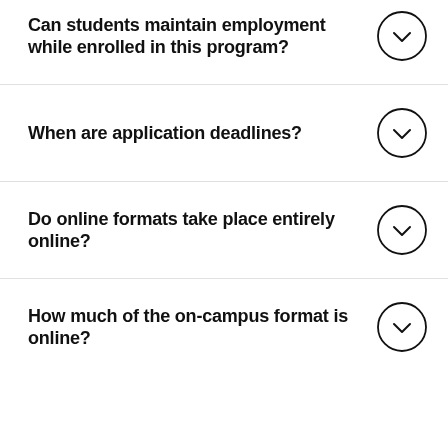Can students maintain employment while enrolled in this program?
When are application deadlines?
Do online formats take place entirely online?
How much of the on-campus format is online?